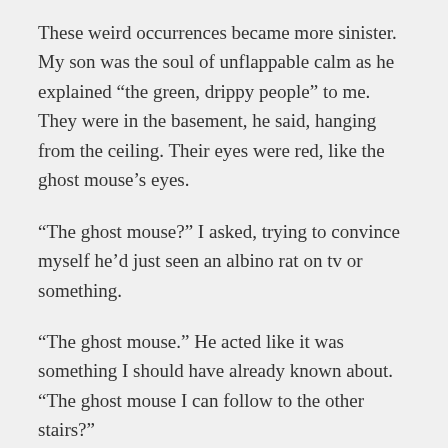These weird occurrences became more sinister. My son was the soul of unflappable calm as he explained “the green, drippy people” to me. They were in the basement, he said, hanging from the ceiling. Their eyes were red, like the ghost mouse’s eyes.
“The ghost mouse?” I asked, trying to convince myself he’d just seen an albino rat on tv or something.
“The ghost mouse.” He acted like it was something I should have already known about. “The ghost mouse I can follow to the other stairs?”
I made him promise me that he would never talk to the green, drippy people or follow the ghost mouse. And he would never, ever go down the other stairs. I